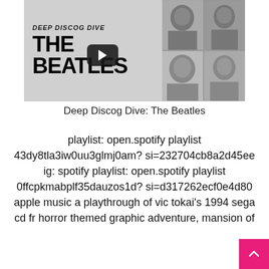[Figure (screenshot): YouTube thumbnail for 'Deep Discog Dive: The Beatles' showing bold text on gray background with a play button overlay on the left, and a 2x2 grid of black-and-white Beatles photos on the right.]
Deep Discog Dive: The Beatles
playlist: open.spotify playlist 43dy8tla3iw0uu3glmj0am? si=232704cb8a2d45ee ig: spotify playlist: open.spotify playlist 0ffcpkmabplf35dauzos1d? si=d317262ecf0e4d80 apple music a playthrough of vic tokai's 1994 sega cd fr horror themed graphic adventure, mansion of